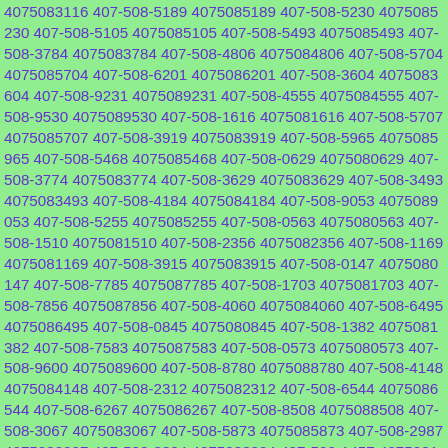4075083116 407-508-5189 4075085189 407-508-5230 4075085230 407-508-5105 4075085105 407-508-5493 4075085493 407-508-3784 4075083784 407-508-4806 4075084806 407-508-5704 4075085704 407-508-6201 4075086201 407-508-3604 4075083604 407-508-9231 4075089231 407-508-4555 4075084555 407-508-9530 4075089530 407-508-1616 4075081616 407-508-5707 4075085707 407-508-3919 4075083919 407-508-5965 4075085965 407-508-5468 4075085468 407-508-0629 4075080629 407-508-3774 4075083774 407-508-3629 4075083629 407-508-3493 4075083493 407-508-4184 4075084184 407-508-9053 4075089053 407-508-5255 4075085255 407-508-0563 4075080563 407-508-1510 4075081510 407-508-2356 4075082356 407-508-1169 4075081169 407-508-3915 4075083915 407-508-0147 4075080147 407-508-7785 4075087785 407-508-1703 4075081703 407-508-7856 4075087856 407-508-4060 4075084060 407-508-6495 4075086495 407-508-0845 4075080845 407-508-1382 4075081382 407-508-7583 4075087583 407-508-0573 4075080573 407-508-9600 4075089600 407-508-8780 4075088780 407-508-4148 4075084148 407-508-2312 4075082312 407-508-6544 4075086544 407-508-6267 4075086267 407-508-8508 4075088508 407-508-3067 4075083067 407-508-5873 4075085873 407-508-2987 4075082987 407-508-3804 4075083804 407-508-1457 4075081457 407-508-8101 4075088101 407-508-4455 4075084455 407-508-5603 4075085603 407-508-0243 4075080243 407-508-8886 4075088886 407-508-8369 4075088369 407-508-6623 4075086623 407-508-5028 4075085028 407-508-6307 4075086307 407-508-6296 4075086296 407-508-5124 4075085124